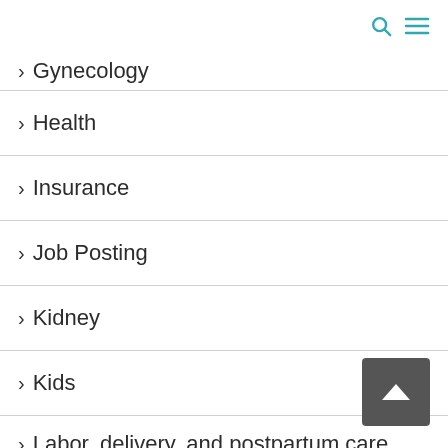search and menu icons
Gynecology
Health
Insurance
Job Posting
Kidney
Kids
Labor, delivery, and postpartum care